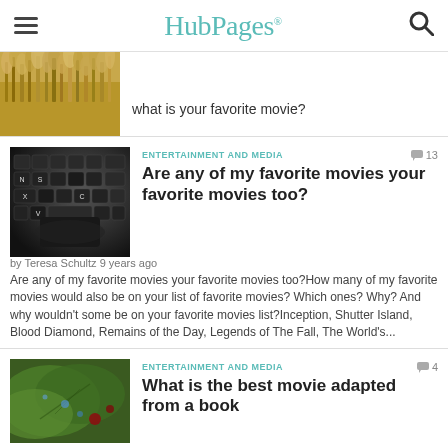HubPages
what is your favorite movie?
ENTERTAINMENT AND MEDIA
Are any of my favorite movies your favorite movies too?
by Teresa Schultz 9 years ago
Are any of my favorite movies your favorite movies too?How many of my favorite movies would also be on your list of favorite movies? Which ones? Why? And why wouldn't some be on your favorite movies list?Inception, Shutter Island, Blood Diamond, Remains of the Day, Legends of The Fall, The World's...
ENTERTAINMENT AND MEDIA
What is the best movie adapted from a book